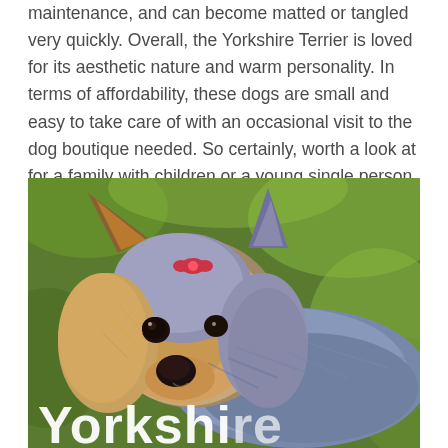maintenance, and can become matted or tangled very quickly. Overall, the Yorkshire Terrier is loved for its aesthetic nature and warm personality. In terms of affordability, these dogs are small and easy to take care of with an occasional visit to the dog boutique needed. So certainly, worth a look at for a family with children or a young single person in need of companionship.
[Figure (photo): Close-up photo of a Yorkshire Terrier dog with tan and blue-grey fur, pointed ears, looking at camera. Green blurred background. White bold text 'Yorkshire' partially visible at bottom of image.]